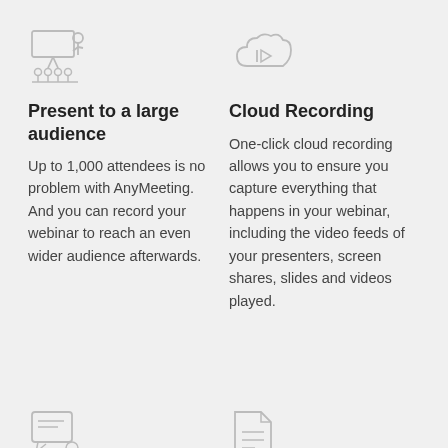[Figure (illustration): Icon of a person presenting to an audience at a screen/whiteboard]
[Figure (illustration): Icon of a cloud with a play/rewind button]
Present to a large audience
Cloud Recording
Up to 1,000 attendees is no problem with AnyMeeting. And you can record your webinar to reach an even wider audience afterwards.
One-click cloud recording allows you to ensure you capture everything that happens in your webinar, including the video feeds of your presenters, screen shares, slides and videos played.
[Figure (illustration): Icon of a chat/message with a location pin]
[Figure (illustration): Icon of a document/file with lines]